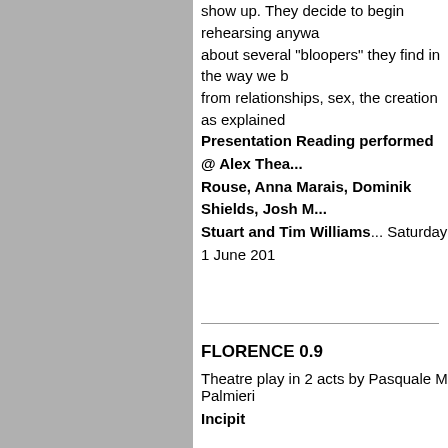show up. They decide to begin rehearsing anywa... about several "bloopers" they find in the way we b... from relationships, sex, the creation as explained...
Presentation Reading performed @ Alex Thea... Rouse, Anna Marais, Dominik Shields, Josh M... Stuart and Tim Williams... Saturday 1 June 201...
FLORENCE 0.9
Theatre play in 2 acts by Pasquale M Palmieri
Incipit
Florence is a teenage girl whose life is shattered... development, refers to "work in progress" made a... release. Florence's ordeal begins with a sour turn... separation and divorce. The play undresses three... feel good moments with sad tugs to the heart...
Soon on stage... stay tuned!